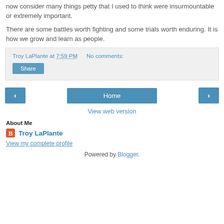now consider many things petty that I used to think were insurmountable or extremely important.
There are some battles worth fighting and some trials worth enduring. It is how we grow and learn as people.
Troy LaPlante at 7:59 PM   No comments:
Share
‹  Home  ›
View web version
About Me
Troy LaPlante
View my complete profile
Powered by Blogger.